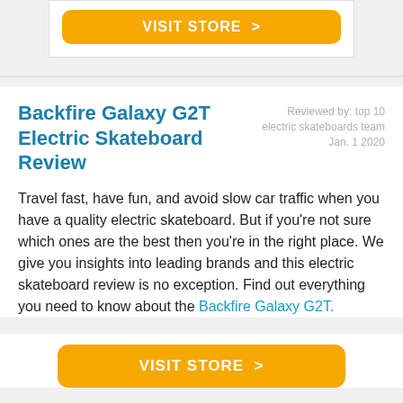[Figure (other): Top orange 'VISIT STORE >' button inside a white card with border, on a light grey background]
Backfire Galaxy G2T Electric Skateboard Review
Reviewed by: top 10 electric skateboards team Jan. 1 2020
Travel fast, have fun, and avoid slow car traffic when you have a quality electric skateboard. But if you're not sure which ones are the best then you're in the right place. We give you insights into leading brands and this electric skateboard review is no exception. Find out everything you need to know about the Backfire Galaxy G2T.
[Figure (other): Bottom orange 'VISIT STORE >' button on white background]